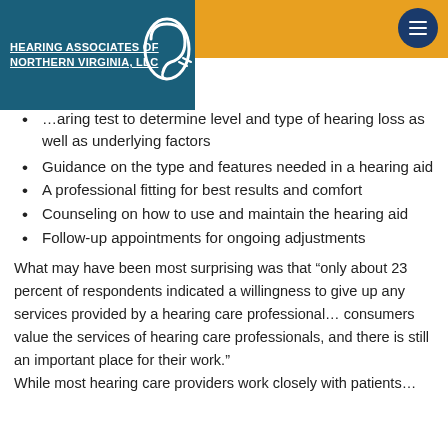[Figure (logo): Hearing Associates of Northern Virginia, LLC logo with teal background and ear icon]
…aring test to determine level and type of hearing loss as well as underlying factors
Guidance on the type and features needed in a hearing aid
A professional fitting for best results and comfort
Counseling on how to use and maintain the hearing aid
Follow-up appointments for ongoing adjustments
What may have been most surprising was that “only about 23 percent of respondents indicated a willingness to give up any services provided by a hearing care professional… consumers value the services of hearing care professionals, and there is still an important place for their work.”
While most hearing care providers work closely with patients…